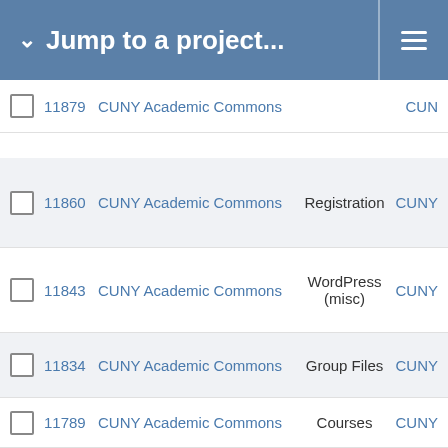Jump to a project...
11879  CUNY Academic Commons  CUN
11860  CUNY Academic Commons  Registration  CUNY
11843  CUNY Academic Commons  WordPress (misc)  CUNY
11834  CUNY Academic Commons  Group Files  CUNY
11789  CUNY Academic Commons  Courses  CUNY